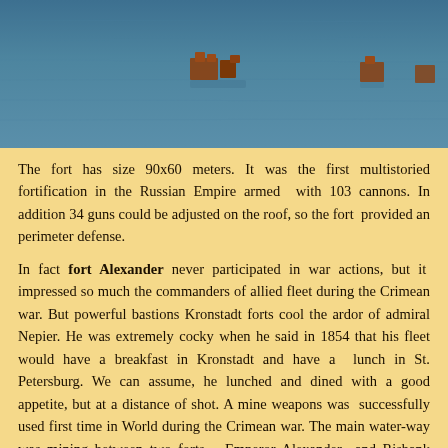[Figure (photo): Aerial or distant view of fort structures partially submerged in water, showing brownish-red building remnants above blue-grey water surface.]
The fort has size 90x60 meters. It was the first multistoried fortification in the Russian Empire armed with 103 cannons. In addition 34 guns could be adjusted on the roof, so the fort provided an perimeter defense.
In fact fort Alexander never participated in war actions, but it impressed so much the commanders of allied fleet during the Crimean war. But powerful bastions Kronstadt forts cool the ardor of admiral Nepier. He was extremely cocky when he said in 1854 that his fleet would have a breakfast in Kronstadt and have a lunch in St. Petersburg. We can assume, he lunched and dined with a good appetite, but at a distance of shot. A mine weapons was successfully used first time in World during the Crimean war. The main water-way was mining between two forts – Emperor Alexander and Risbank (Paul 1). Several ships of united Anglo-French fleet were damaged.
[Figure (photo): Bottom portion of a historical illustration showing sailing ship masts and rigging against a light background.]